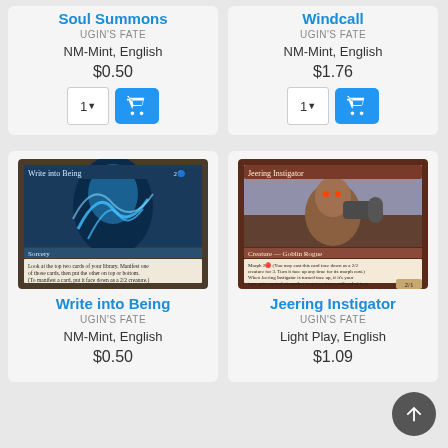Soul Summons
UGIN'S FATE
NM-Mint, English
$0.50
Windcall
UGIN'S FATE
NM-Mint, English
$1.76
[Figure (photo): Magic: The Gathering card - Write into Being (blue sorcery card with serpentine creature illustration)]
Write into Being
UGIN'S FATE
NM-Mint, English
$0.50
[Figure (photo): Magic: The Gathering card - Jeering Instigator (red creature card - Goblin Rogue with morph ability)]
Jeering Instigator
UGIN'S FATE
Light Play, English
$1.09